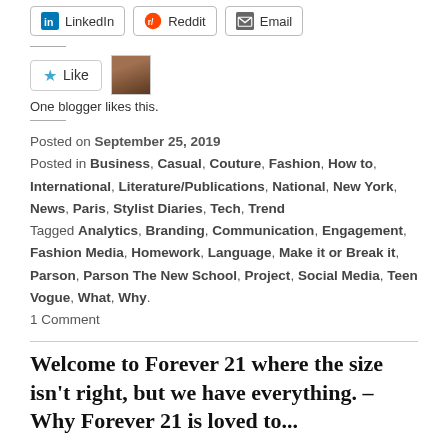[Figure (other): Social share buttons: LinkedIn, Reddit, Email]
[Figure (other): Like button with star icon and user avatar thumbnail]
One blogger likes this.
Posted on September 25, 2019
Posted in Business, Casual, Couture, Fashion, How to, International, Literature/Publications, National, New York, News, Paris, Stylist Diaries, Tech, Trend
Tagged Analytics, Branding, Communication, Engagement, Fashion Media, Homework, Language, Make it or Break it, Parson, Parson The New School, Project, Social Media, Teen Vogue, What, Why.
1 Comment
Welcome to Forever 21 where the size isn't right, but we have everything. – Why Forever 21 is loved to...